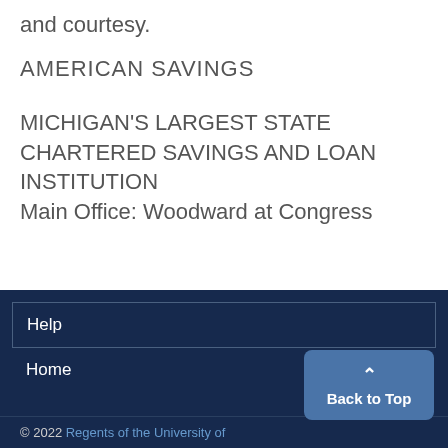and courtesy.
AMERICAN SAVINGS
MICHIGAN'S LARGEST STATE CHARTERED SAVINGS AND LOAN INSTITUTION
Main Office: Woodward at Congress
Help
Home
© 2022 Regents of the University of
Back to Top